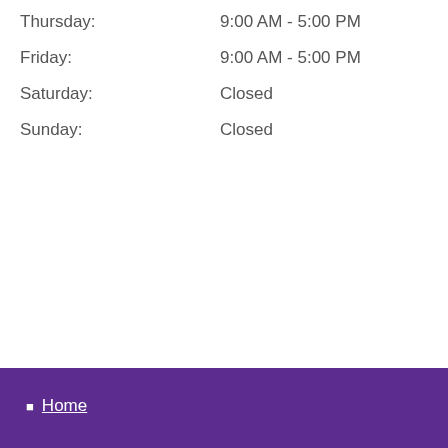Thursday: 9:00 AM - 5:00 PM
Friday: 9:00 AM - 5:00 PM
Saturday: Closed
Sunday: Closed
Home